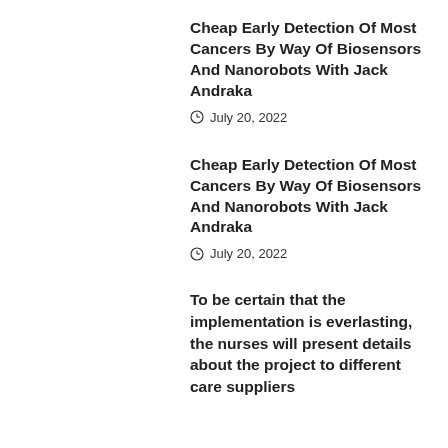Cheap Early Detection Of Most Cancers By Way Of Biosensors And Nanorobots With Jack Andraka
July 20, 2022
Cheap Early Detection Of Most Cancers By Way Of Biosensors And Nanorobots With Jack Andraka
July 20, 2022
To be certain that the implementation is everlasting, the nurses will present details about the project to different care suppliers